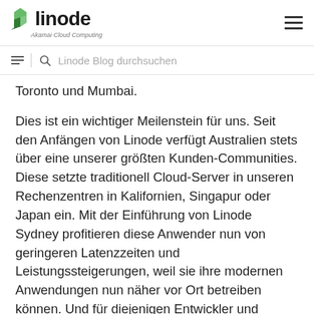linode – Akamai Cloud Computing
≡  🔍  Linode Blog durchsuchen
Toronto und Mumbai.
Dies ist ein wichtiger Meilenstein für uns. Seit den Anfängen von Linode verfügt Australien stets über eine unserer größten Kunden-Communities. Diese setzte traditionell Cloud-Server in unseren Rechenzentren in Kalifornien, Singapur oder Japan ein. Mit der Einführung von Linode Sydney profitieren diese Anwender nun von geringeren Latenzzeiten und Leistungssteigerungen, weil sie ihre modernen Anwendungen nun näher vor Ort betreiben können. Und für diejenigen Entwickler und Unternehmen, die Linode bisher nicht nutzen konnten, bieten wir jetzt endlich eine Wahlmöglichkeit, die zudem regionalen